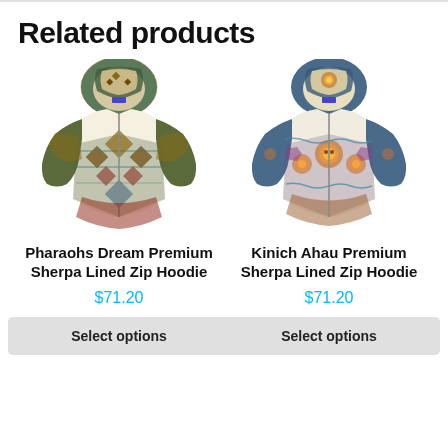Related products
[Figure (photo): Pharaohs Dream Premium Sherpa Lined Zip Hoodie - patterned hoodie with blue/gold/red geometric design and white sherpa lining]
Pharaohs Dream Premium Sherpa Lined Zip Hoodie
$71.20
Select options
[Figure (photo): Kinich Ahau Premium Sherpa Lined Zip Hoodie - patterned hoodie with blue/orange/purple intricate design and white sherpa lining]
Kinich Ahau Premium Sherpa Lined Zip Hoodie
$71.20
Select options